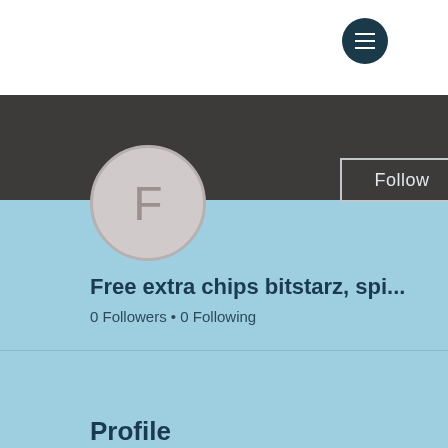[Figure (screenshot): Mobile app user profile page screenshot showing a profile with letter F avatar, Follow button, username 'Free extra chips bitstarz, spi...', 0 Followers, 0 Following, and Profile section with Join date: May 17, 2022. Dark header band with tropical background on right side.]
Free extra chips bitstarz, spi...
0 Followers • 0 Following
Profile
Join date: May 17, 2022